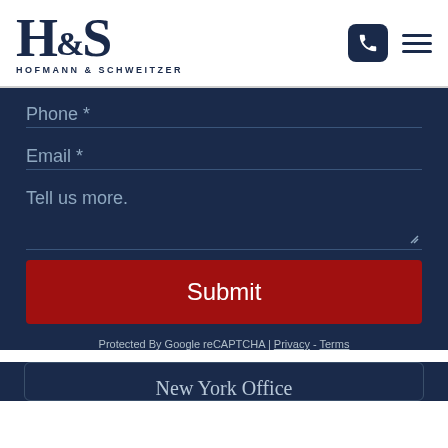[Figure (logo): Hofmann & Schweitzer law firm logo — large serif H&S with 'HOFMANN & SCHWEITZER' text below]
Phone *
Email *
Tell us more.
Submit
Protected By Google reCAPTCHA | Privacy - Terms
New York Office